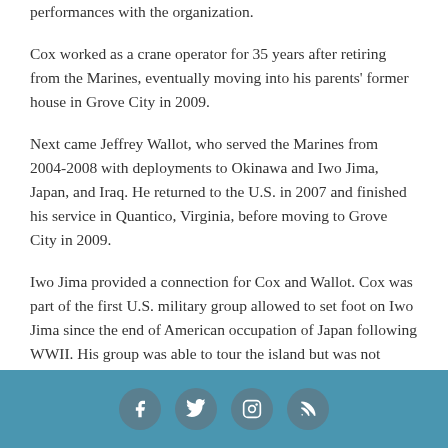performances with the organization.
Cox worked as a crane operator for 35 years after retiring from the Marines, eventually moving into his parents' former house in Grove City in 2009.
Next came Jeffrey Wallot, who served the Marines from 2004-2008 with deployments to Okinawa and Iwo Jima, Japan, and Iraq. He returned to the U.S. in 2007 and finished his service in Quantico, Virginia, before moving to Grove City in 2009.
Iwo Jima provided a connection for Cox and Wallot. Cox was part of the first U.S. military group allowed to set foot on Iwo Jima since the end of American occupation of Japan following WWII. His group was able to tour the island but was not allowed to touch or photograph anything. When Wallot went to Iwo Jima 15 years later, he was able to bring back a bottle
Social media icons: Facebook, Twitter, Instagram, RSS